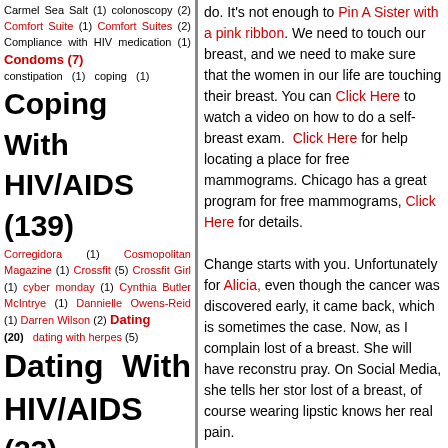Carmel Sea Salt (1) colonoscopy (2) Comfort Suite (1) Comfort Suites (2) Compliance with HIV medication (1) Condoms (7) constipation (1) coping (1) Coping With HIV/AIDS (139) Corregidora (1) Cosmopolitan Magazine (1) Crossfit (5) Crossfit Girl (1) cyber monday (1) Cynthia Butler McIntrye (1) Dannielle Owens-Reid (1) Darren Wilson (2) Dating (20) dating with herpes (5) Dating With HIV/AIDS (23) Deepak Chopra (2) Dejango Unchained (1) Delta at 100 (1) Delta Sigma Theta (7) Depression (12) Dessert Teas (1) Dexa Scan (1) diarrhea (4) Dionne Warwick (1) Discrimination (3) Diva (1) Diva AIDS Awareness Bracelet (3) diva living with aids (2) divalivingwithaids (3) Dog
do. It's not enough to Pin A Sister with a pink ribbon. We need to touch our breast, and we need to make sure that the women in our life are touching their breast. You can Click Here to watch a video on how to do a self-breast exam. Click Here for help locating a place for free mammograms. Chicago has a great program for free mammograms, Click Here for details.

Change starts with you. Unfortunately for Alicia, even though the cancer was discovered early, it came back, which is sometimes the case. Now, as I complain lost of a breast. She will have reconstru pray. On Social Media, she tells her stor lost of a breast, of course wearing lipstic knows her real pain.